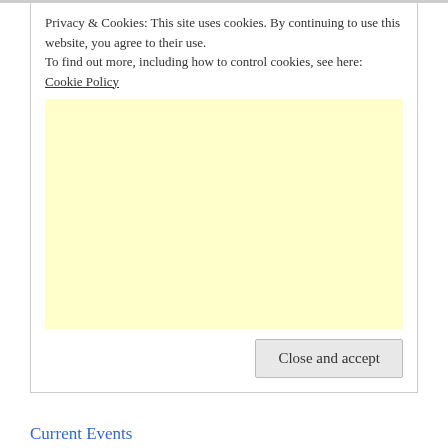cl ii...
Privacy & Cookies: This site uses cookies. By continuing to use this website, you agree to their use.
To find out more, including how to control cookies, see here: Cookie Policy
[Figure (other): Light yellow advertisement placeholder box]
Close and accept
Current Events